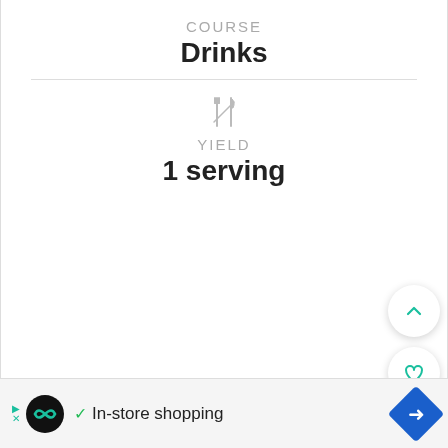COURSE
Drinks
[Figure (illustration): Crossed fork and knife icon in gray]
YIELD
1 serving
[Figure (screenshot): Floating action buttons: up chevron (white circle), heart (white circle), search (green circle)]
In-store shopping